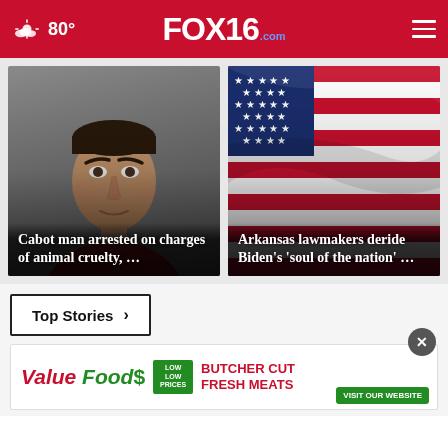FOX16.com — 80° — navigation header
[Figure (photo): Mugshot photo of a man with dark hair with headline overlay: Cabot man arrested on charges of animal cruelty, ...]
[Figure (photo): American flag waving with headline overlay: Arkansas lawmakers deride Biden's 'soul of the nation' ...]
Top Stories ›
[Figure (infographic): Value Foods advertisement banner: BUTCHER CUT FRESH MEATS — VISIT OUR WEBSITE]